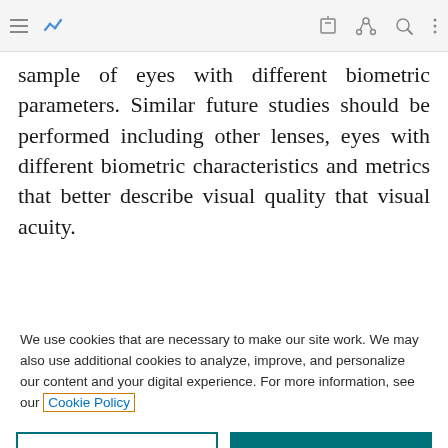[Browser toolbar with menu, bookmark, share, search, and more icons]
sample of eyes with different biometric parameters. Similar future studies should be performed including other lenses, eyes with different biometric characteristics and metrics that better describe visual quality that visual acuity.
We use cookies that are necessary to make our site work. We may also use additional cookies to analyze, improve, and personalize our content and your digital experience. For more information, see our Cookie Policy
Cookie settings | Accept all cookies